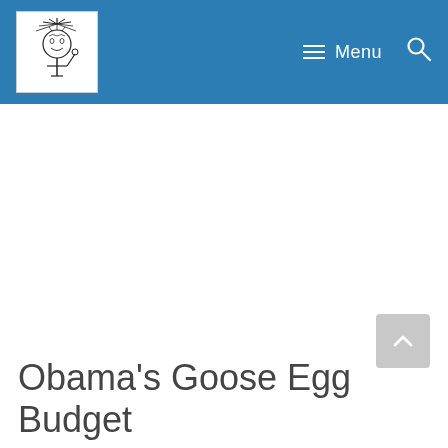Menu
[Figure (logo): Website logo: illustration of a figure resembling the Statue of Liberty with radiating lines, in black and white, inside a square frame]
Obama's Goose Egg Budget